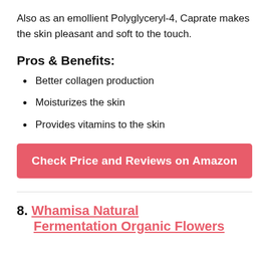Also as an emollient Polyglyceryl-4, Caprate makes the skin pleasant and soft to the touch.
Pros & Benefits:
Better collagen production
Moisturizes the skin
Provides vitamins to the skin
Check Price and Reviews on Amazon
8. Whamisa Natural Fermentation Organic Flowers